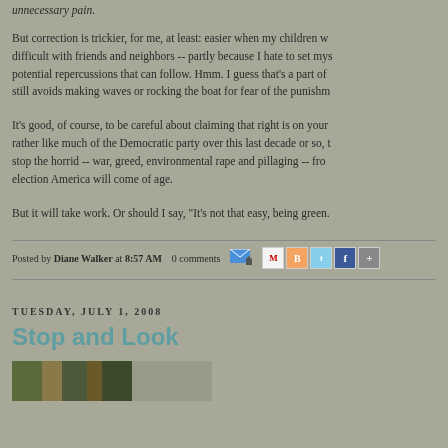unnecessary pain.
But correction is trickier, for me, at least: easier when my children w... difficult with friends and neighbors -- partly because I hate to set mys... potential repercussions that can follow. Hmm. I guess that's a part of... still avoids making waves or rocking the boat for fear of the punishm...
It's good, of course, to be careful about claiming that right is on your... rather like much of the Democratic party over this last decade or so, t... stop the horrid -- war, greed, environmental rape and pillaging -- fro... election America will come of age.
But it will take work. Or should I say, "It's not that easy, being green...
Posted by Diane Walker at 8:57 AM   0 comments
TUESDAY, JULY 1, 2008
Stop and Look
[Figure (photo): Bottom portion of a photo/image partially visible]